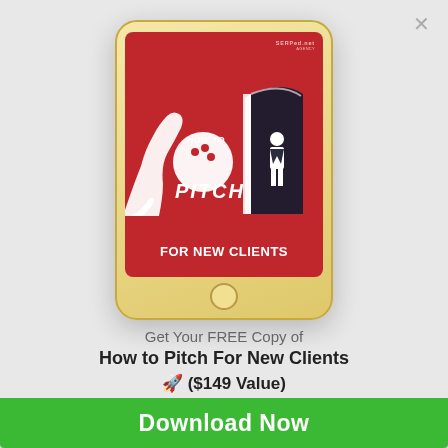[Figure (illustration): Tablet/iPad device displaying a book cover titled 'How to Pitch For New Clients' with red background, arm, bowling ball, and door illustration. SERPed.net logo in top right of cover.]
Get Your FREE Copy of
How to Pitch For New Clients 🚀 ($149 Value)
100% Useful, Actionable Tips 🤙
Download Now